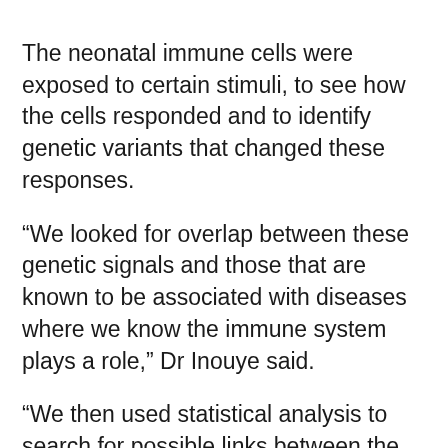The neonatal immune cells were exposed to certain stimuli, to see how the cells responded and to identify genetic variants that changed these responses.
“We looked for overlap between these genetic signals and those that are known to be associated with diseases where we know the immune system plays a role,” Dr Inouye said.
“We then used statistical analysis to search for possible links between the cell response in newborns and immune diseases in adulthood.”